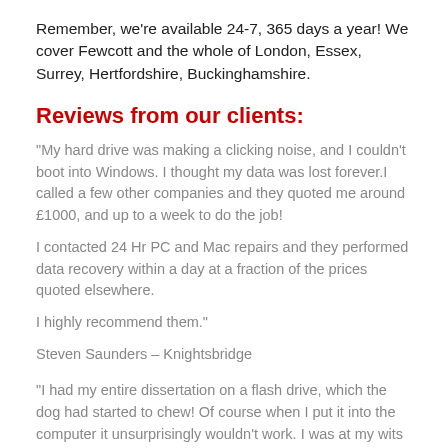Remember, we're available 24-7, 365 days a year! We cover Fewcott and the whole of London, Essex, Surrey, Hertfordshire, Buckinghamshire.
Reviews from our clients:
“My hard drive was making a clicking noise, and I couldn’t boot into Windows. I thought my data was lost forever.I called a few other companies and they quoted me around £1000, and up to a week to do the job!

I contacted 24 Hr PC and Mac repairs and they performed data recovery within a day at a fraction of the prices quoted elsewhere.

I highly recommend them.”
Steven Saunders – Knightsbridge
“I had my entire dissertation on a flash drive, which the dog had started to chew! Of course when I put it into the computer it unsurprisingly wouldn’t work. I was at my wits end as I didn’t